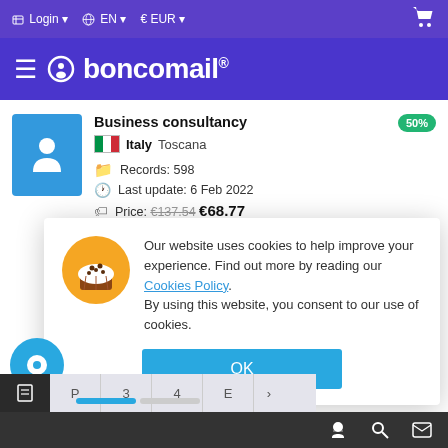Login  EN  EUR  [cart]
boncomail®
Business consultancy
Italy Toscana
Records: 598
Last update: 6 Feb 2022
Price: €137.54  €68.77
Our website uses cookies to help improve your experience. Find out more by reading our Cookies Policy. By using this website, you consent to our use of cookies.
OK